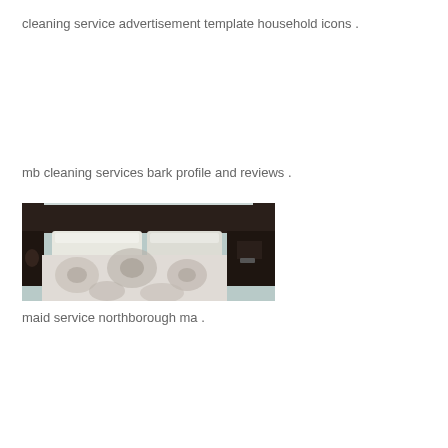cleaning service advertisement template household icons .
mb cleaning services bark profile and reviews .
[Figure (photo): A neatly made bed with a dark headboard, white pillows, and a decorative patterned comforter/duvet in grey and white floral design. Nightstands visible on either side.]
maid service northborough ma .